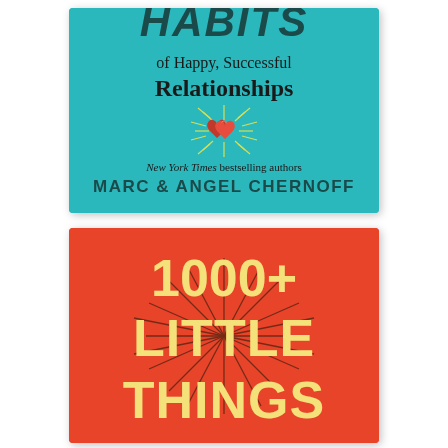[Figure (illustration): Book cover: top book on teal/turquoise background showing title 'HABITS of Happy, Successful Relationships' with two red hearts illustration and text 'New York Times bestselling authors MARC & ANGEL CHERNOFF']
[Figure (illustration): Book cover: bottom book on orange/red background showing title '1000+ LITTLE THINGS' in large cream/yellow hand-lettered font with radiating lines]